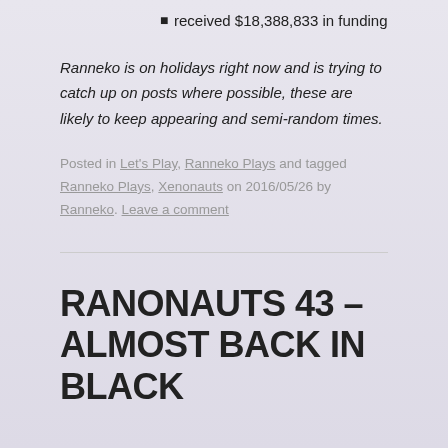received $18,388,833 in funding
Ranneko is on holidays right now and is trying to catch up on posts where possible, these are likely to keep appearing and semi-random times.
Posted in Let's Play, Ranneko Plays and tagged Ranneko Plays, Xenonauts on 2016/05/26 by Ranneko. Leave a comment
RANONAUTS 43 – ALMOST BACK IN BLACK